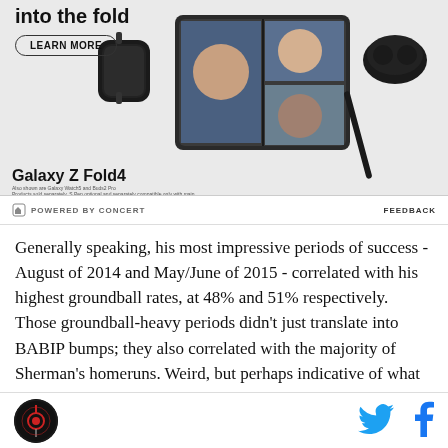[Figure (photo): Samsung Galaxy Z Fold4 advertisement banner showing a smartwatch, foldable phone with video call on screen, earbuds, stylus pen, and LEARN MORE button. Text 'Galaxy Z Fold4' at bottom left.]
POWERED BY CONCERT    FEEDBACK
Generally speaking, his most impressive periods of success - August of 2014 and May/June of 2015 - correlated with his highest groundball rates, at 48% and 51% respectively. Those groundball-heavy periods didn't just translate into BABIP bumps; they also correlated with the majority of Sherman's homeruns. Weird, but perhaps indicative of what he looks like
[Figure (logo): Site logo: circular dark badge with red/white antenna graphic]
[Figure (logo): Twitter bird icon in blue]
[Figure (logo): Facebook f icon in blue]